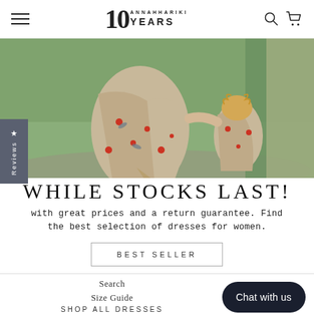10 ANNAHHARIKI YEARS — navigation header with hamburger menu, logo, search and cart icons
[Figure (photo): Outdoor photo showing a woman and young child in matching floral wrap dresses in beige/pink tones with red floral print, standing on a path with green background]
WHILE STOCKS LAST!
with great prices and a return guarantee. Find the best selection of dresses for women.
BEST SELLER
Search
Size Guide
SHOP ALL DRESSES
Chat with us